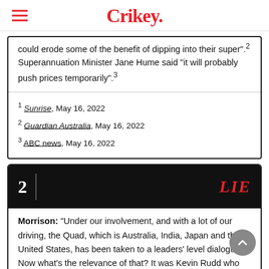Crikey.
could erode some of the benefit of dipping into their super”.² Superannuation Minister Jane Hume said “it will probably push prices temporarily”.³
¹ Sunrise, May 16, 2022
² Guardian Australia, May 16, 2022
³ ABC news, May 16, 2022
2   LIE
Morrison: “Under our involvement, and with a lot of our driving, the Quad, which is Australia, India, Japan and the United States, has been taken to a leaders’ level dialogue. Now what’s the relevance of that? It was Kevin Rudd who put an end to that at the behest of the Chinese government.”¹